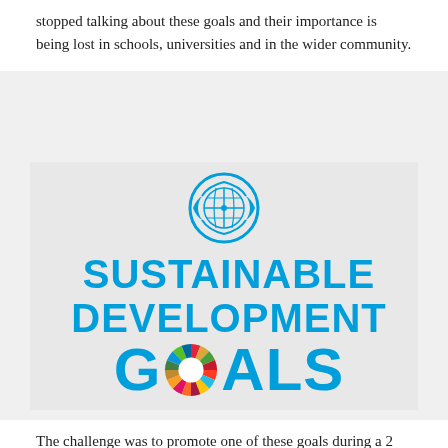stopped talking about these goals and their importance is being lost in schools, universities and in the wider community.
[Figure (logo): UN Sustainable Development Goals logo — UN emblem in blue above large bold blue text reading SUSTAINABLE DEVELOPMENT GOALS, with a colorful circular wheel of SDG icons replacing the letter O in GOALS.]
The challenge was to promote one of these goals during a 2 minute online showcase presentation with the group via the chosen solution (Spark, App design or Video).